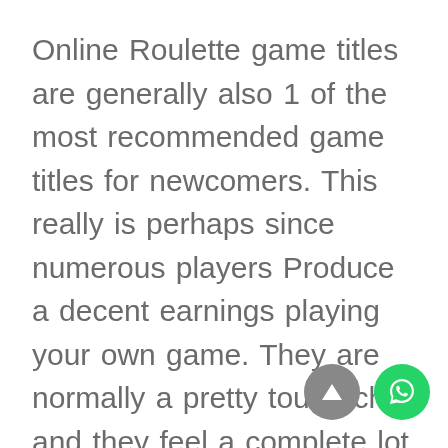Online Roulette game titles are generally also 1 of the most recommended game titles for newcomers. This really is perhaps since numerous players Produce a decent earnings playing your own game. They are normally a pretty tough chip and they feel a complete lot different then other styles of chips. The alternative is to play in browser on the html5 cellular version of the casino site. Possibly quite a few of the almost all popular totally free games online are the ones offered simply by major providers like Search engines or Yahoo. Consequently down with latest